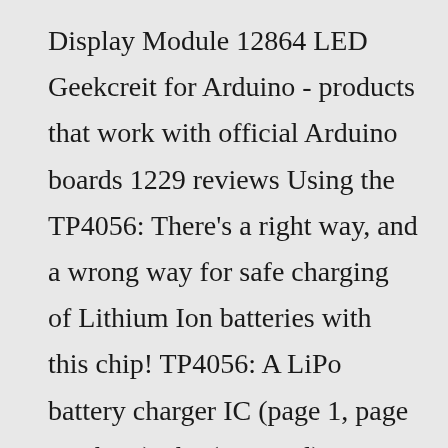Display Module 12864 LED Geekcreit for Arduino - products that work with official Arduino boards 1229 reviews Using the TP4056: There's a right way, and a wrong way for safe charging of Lithium Ion batteries with this chip! TP4056: A LiPo battery charger IC (page 1, page 2 is here) The (minimal) Software You can see the example running in the screenshot here: 🔲🔲🔲🔲 Battery 3 4 A Discharge Highly Integrated